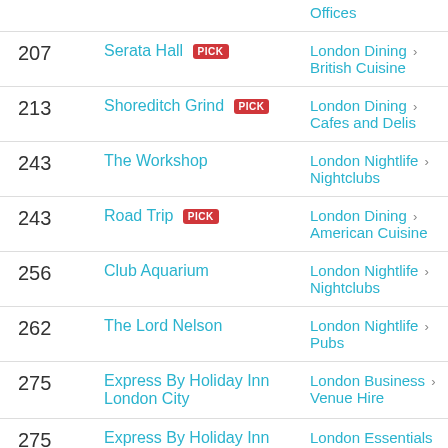| Page | Name | Category |
| --- | --- | --- |
|  |  | Offices |
| 207 | Serata Hall [PICK] | London Dining > British Cuisine |
| 213 | Shoreditch Grind [PICK] | London Dining > Cafes and Delis |
| 243 | The Workshop | London Nightlife > Nightclubs |
| 243 | Road Trip [PICK] | London Dining > American Cuisine |
| 256 | Club Aquarium | London Nightlife > Nightclubs |
| 262 | The Lord Nelson | London Nightlife > Pubs |
| 275 | Express By Holiday Inn London City | London Business > Venue Hire |
| 275 | Express By Holiday Inn | London Essentials > New |